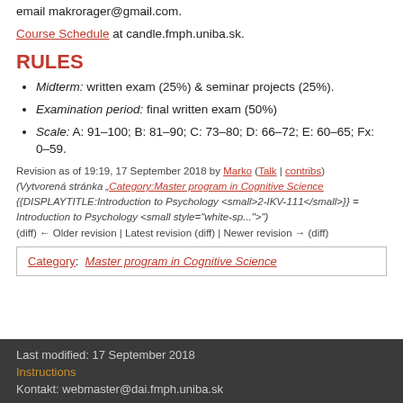email makrorager@gmail.com.
Course Schedule at candle.fmph.uniba.sk.
RULES
Midterm: written exam (25%) & seminar projects (25%).
Examination period: final written exam (50%)
Scale: A: 91–100; B: 81–90; C: 73–80; D: 66–72; E: 60–65; Fx: 0–59.
Revision as of 19:19, 17 September 2018 by Marko (Talk | contribs) (Vytvorená stránka „Category:Master program in Cognitive Science {{DISPLAYTITLE:Introduction to Psychology <small>2-IKV-111</small>}} = Introduction to Psychology <small style="white-sp...") (diff) ← Older revision | Latest revision (diff) | Newer revision → (diff)
Category: Master program in Cognitive Science
Last modified: 17 September 2018
Instructions
Kontakt: webmaster@dai.fmph.uniba.sk